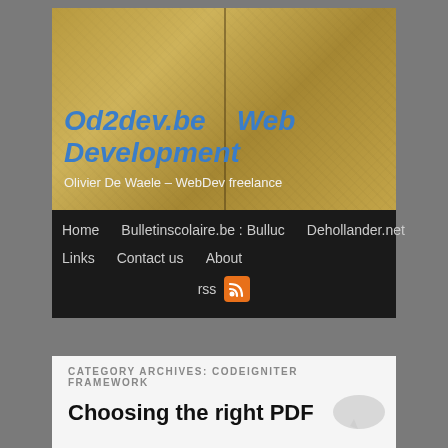[Figure (illustration): Website header banner with textured golden/brown background, divided by vertical line, showing site title 'Od2dev.be Web Development' in blue italic bold text and subtitle 'Olivier De Waele – WebDev freelance' in white]
Od2dev.be   Web Development
Olivier De Waele – WebDev freelance
Home    Bulletinscolaire.be : Bulluc    Dehollander.net
Links    Contact us    About
rss
CATEGORY ARCHIVES: CODEIGNITER FRAMEWORK
Choosing the right PDF